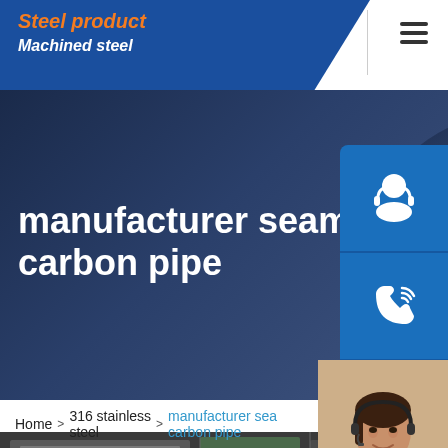Steel product / Machined steel
manufacturer seamless carbon pipe
24 ho
Custom
[Figure (screenshot): Website screenshot showing a steel product page with a dark hero section featuring a circular pipe visual, blue navigation header with orange italic 'Steel product' and white bold 'Machined steel' text, hamburger menu icon, three blue side icon buttons (customer service, phone, Skype), a customer service representative photo with chat popup saying 'Hello,How may I help you?' and orange 'Chat Now' button.]
Home  >  316 stainless steel  >  manufacturer seamless carbon pipe
[Figure (photo): Bottom strip showing industrial steel pipe manufacturing facility]